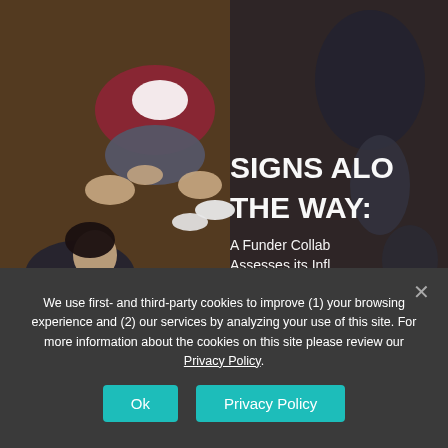[Figure (photo): Overhead photo of students sitting on the ground, overlaid with partial title text 'SIGNS ALONG THE WAY: A Funder Collaboration Assesses its Influence' and date 'JUNE 2020'. Partially cropped on the right side.]
We use first- and third-party cookies to improve (1) your browsing experience and (2) our services by analyzing your use of this site. For more information about the cookies on this site please review our Privacy Policy.